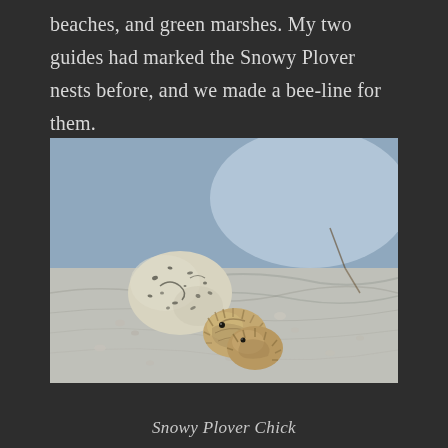beaches, and green marshes. My two guides had marked the Snowy Plover nests before, and we made a bee-line for them.
[Figure (photo): Close-up photograph of a Snowy Plover chick and speckled egg resting on sandy beach ground with pebbles and rippled shadows.]
Snowy Plover Chick